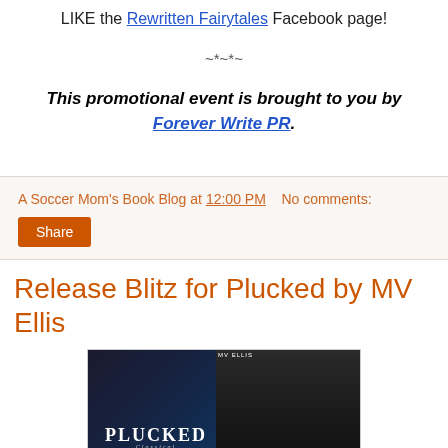LIKE the Rewritten Fairytales Facebook page!
~*~*~
This promotional event is brought to you by Forever Write PR.
A Soccer Mom's Book Blog at 12:00 PM    No comments:
Share
Release Blitz for Plucked by MV Ellis
[Figure (photo): Book cover collage for 'Plucked' by MV Ellis showing the book cover with title text and 'Available Now' on Kindle branding]